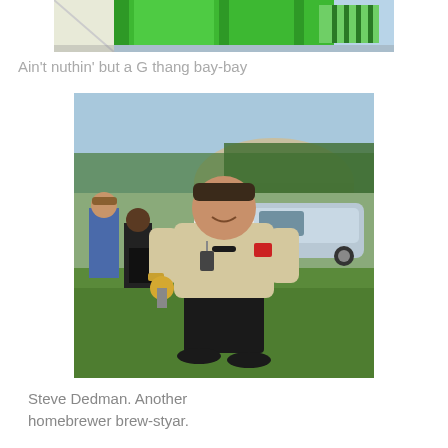[Figure (photo): Top portion of a photo showing a person in a bright green shirt or jacket, cropped at the top of the page]
Ain’t nuthin’ but a G thang bay-bay
[Figure (photo): Photo of Steve Dedman, a man in a beige t-shirt and black shorts, smiling and holding something, standing outdoors in a grassy area with other people and cars in the background. He has sunglasses hanging from his collar and a name badge.]
Steve Dedman. Another homebrewer brew-styar.